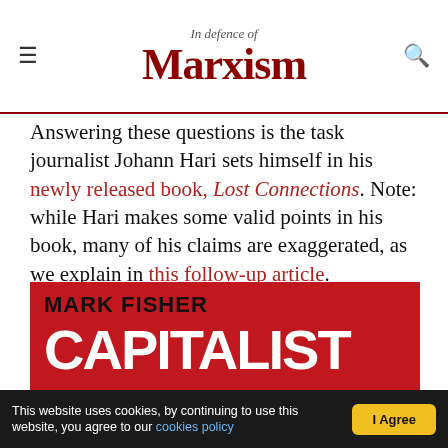In Defence of Marxism
Answering these questions is the task journalist Johann Hari sets himself in his newly released book, Lost Connections. Note: while Hari makes some valid points in his book, many of his claims are exaggerated, as we explain in this follow-up article.
[Figure (photo): Book cover showing 'Mark Fisher – Capitalist' with red background and large white bold text]
This website uses cookies, by continuing to use this website, you agree to our cookies policy